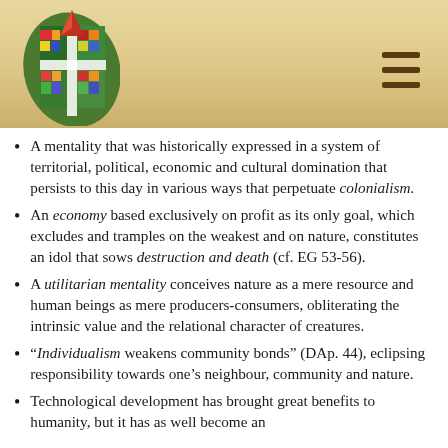[Figure (logo): United Methodist Church logo — colorful stained-glass flame and cross design]
A mentality that was historically expressed in a system of territorial, political, economic and cultural domination that persists to this day in various ways that perpetuate colonialism.
An economy based exclusively on profit as its only goal, which excludes and tramples on the weakest and on nature, constitutes an idol that sows destruction and death (cf. EG 53-56).
A utilitarian mentality conceives nature as a mere resource and human beings as mere producers-consumers, obliterating the intrinsic value and the relational character of creatures.
“Individualism weakens community bonds” (DAp. 44), eclipsing responsibility towards one’s neighbour, community and nature.
Technological development has brought great benefits to humanity, but it has as well become an